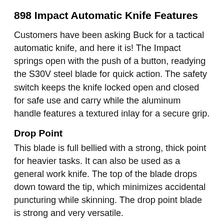898 Impact Automatic Knife Features
Customers have been asking Buck for a tactical automatic knife, and here it is! The Impact springs open with the push of a button, readying the S30V steel blade for quick action. The safety switch keeps the knife locked open and closed for safe use and carry while the aluminum handle features a textured inlay for a secure grip.
Drop Point
This blade is full bellied with a strong, thick point for heavier tasks. It can also be used as a general work knife. The top of the blade drops down toward the tip, which minimizes accidental puncturing while skinning. The drop point blade is strong and very versatile.
One-Handed Opening
Has a thumb stud, blade hole or other feature to facilitate one-hand use. Some models are one-hand opening and one-